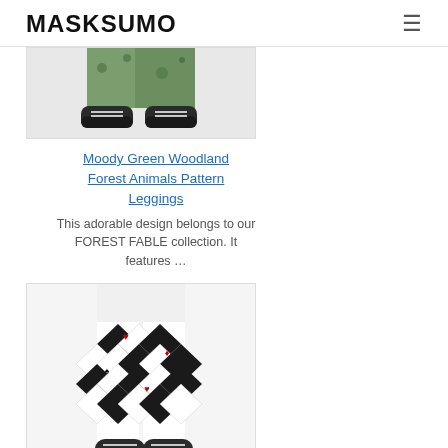MASKSUMO
[Figure (photo): Top portion of a model wearing green woodland forest animal pattern leggings with sneakers, cropped view]
Moody Green Woodland Forest Animals Pattern Leggings
This adorable design belongs to our FOREST FABLE collection. It features ...
[Figure (photo): Model wearing black and white harlequin diamond pattern leggings with playing card suit symbols, full leg view with sneakers]